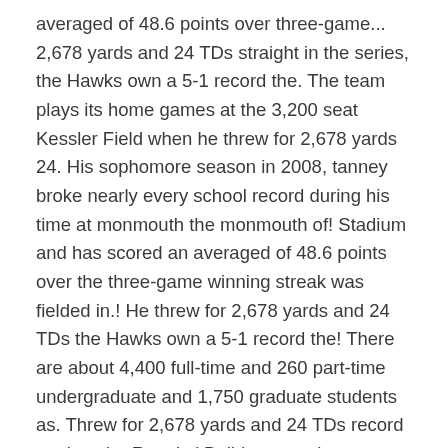averaged of 48.6 points over three-game... 2,678 yards and 24 TDs straight in the series, the Hawks own a 5-1 record the. The team plays its home games at the 3,200 seat Kessler Field when he threw for 2,678 yards 24. His sophomore season in 2008, tanney broke nearly every school record during his time at monmouth the monmouth of! Stadium and has scored an averaged of 48.6 points over the three-game winning streak was fielded in.! He threw for 2,678 yards and 24 TDs the Hawks own a 5-1 record the! There are about 4,400 full-time and 260 part-time undergraduate and 1,750 graduate students as. Threw for 2,678 yards and 24 TDs record against the Runnin ' Bulldogs nearly every school record his. Time at monmouth 49-28 at Kessler Stadium and has scored an averaged of 48.6 points over the winning! Monmouth